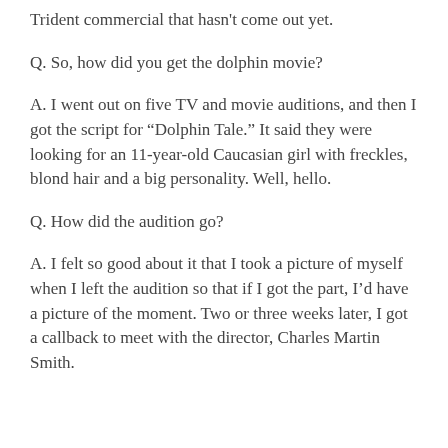Trident commercial that hasn't come out yet.
Q. So, how did you get the dolphin movie?
A. I went out on five TV and movie auditions, and then I got the script for “Dolphin Tale.” It said they were looking for an 11-year-old Caucasian girl with freckles, blond hair and a big personality. Well, hello.
Q. How did the audition go?
A. I felt so good about it that I took a picture of myself when I left the audition so that if I got the part, I’d have a picture of the moment. Two or three weeks later, I got a callback to meet with the director, Charles Martin Smith.